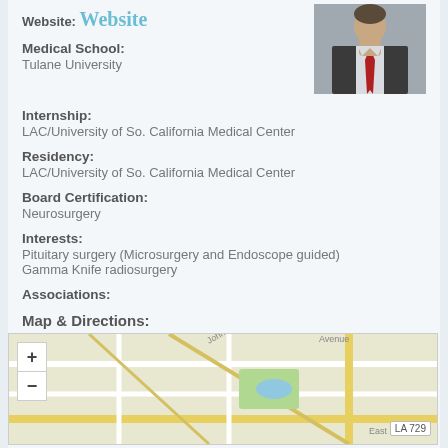Website: Website
[Figure (photo): Portrait photo of a man in a suit with a red tie]
Medical School:
Tulane University
Internship:
LAC/University of So. California Medical Center
Residency:
LAC/University of So. California Medical Center
Board Certification:
Neurosurgery
Interests:
Pituitary surgery (Microsurgery and Endoscope guided)
Gamma Knife radiosurgery
Associations:
Map & Directions:
[Figure (map): Street map showing location with zoom +/- controls and LA 729 road label]